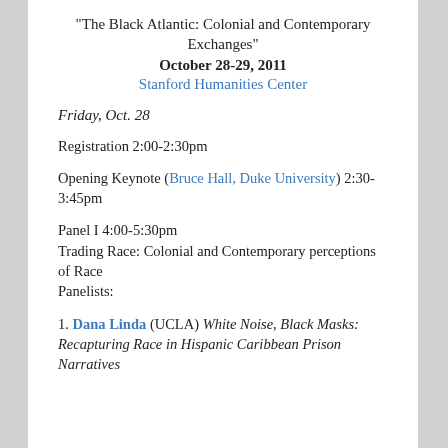“The Black Atlantic: Colonial and Contemporary Exchanges”
October 28-29, 2011
Stanford Humanities Center
Friday, Oct. 28
Registration 2:00-2:30pm
Opening Keynote (Bruce Hall, Duke University) 2:30-3:45pm
Panel I 4:00-5:30pm
Trading Race: Colonial and Contemporary perceptions of Race
Panelists:
1. Dana Linda (UCLA) White Noise, Black Masks: Recapturing Race in Hispanic Caribbean Prison Narratives